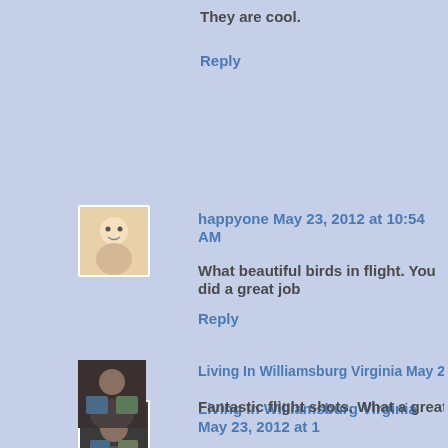They are cool.
Reply
happyone May 23, 2012 at 10:54 AM
What beautiful birds in flight. You did a great job
Reply
Living In Williamsburg Virginia May 23, 2012 at 1
Fantastic flight shots. What a great silhouette th
Darryl and Ruth :)
Reply
Amila Kanchana May 23, 2012 at 12:09 PM
Very interesting,another new bird species for me